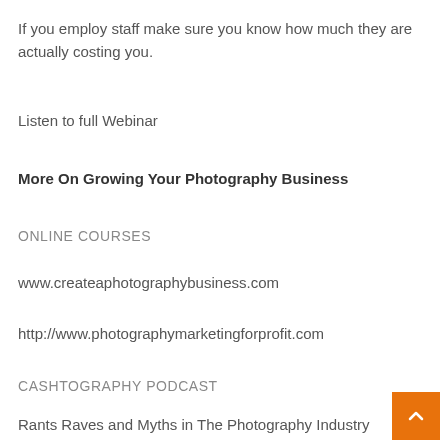If you employ staff make sure you know how much they are actually costing you.
Listen to full Webinar
More On Growing Your Photography Business
ONLINE COURSES
www.createaphotographybusiness.com
http://www.photographymarketingforprofit.com
CASHTOGRAPHY PODCAST
Rants Raves and Myths in The Photography Industry